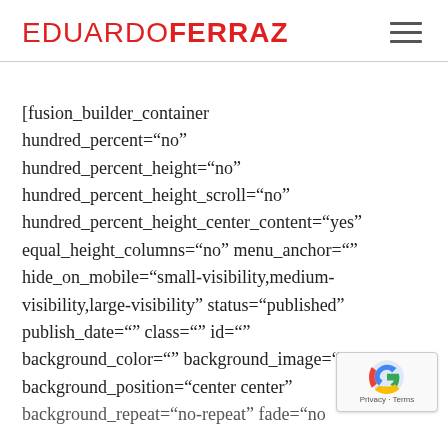EDUARDOFERRAZ
[fusion_builder_container hundred_percent="no" hundred_percent_height="no" hundred_percent_height_scroll="no" hundred_percent_height_center_content="yes" equal_height_columns="no" menu_anchor="" hide_on_mobile="small-visibility,medium-visibility,large-visibility" status="published" publish_date="" class="" id="" background_color="" background_image="" background_position="center center" background_repeat="no-repeat" fade="no"